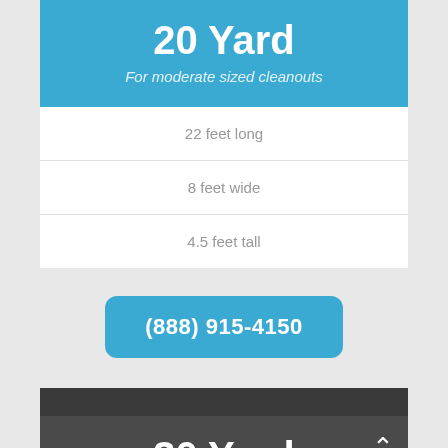20 Yard
For moderate sized cleanouts
22 feet long
8 feet wide
4.5 feet tall
(888) 915-4150
30 Yard